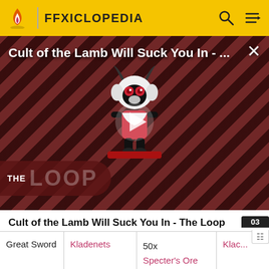FFXICLOPEDIA
[Figure (screenshot): Video thumbnail for 'Cult of the Lamb Will Suck You In - The Loop' showing a cartoon lamb character against a red diagonal striped background, with a play button in the center and 'THE LOOP' text at the bottom left.]
Cult of the Lamb Will Suck You In - The Loop
| Great Sword | Kladenets | 50x
Specter's Ore | Klac... |
| Axe | Habilitator | 50x
Thell... | Habilit... |